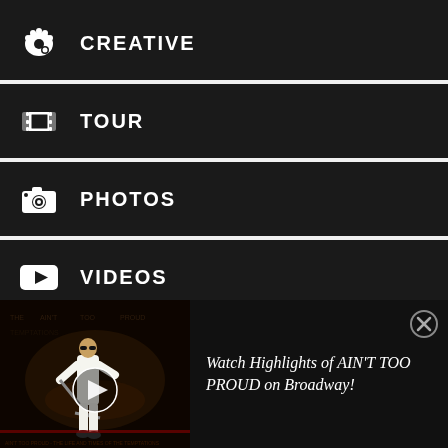CREATIVE
TOUR
PHOTOS
VIDEOS
INFO
[Figure (screenshot): White area with faint arc/circle watermark graphic]
[Figure (photo): Ad banner showing a performer on stage in white suit with microphone stand, dark background with audience text]
Watch Highlights of AIN'T TOO PROUD on Broadway!